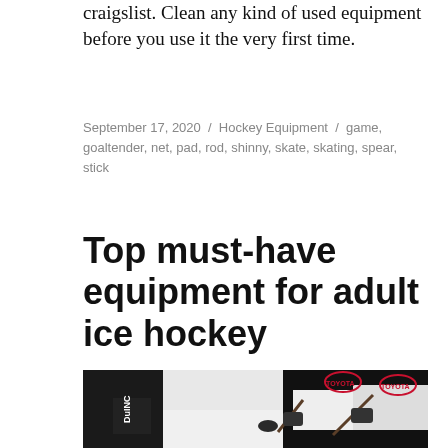craigslist. Clean any kind of used equipment before you use it the very first time.
September 17, 2020 / Hockey Equipment / game, goaltender, net, pad, rod, shinny, skate, skating, spear, stick
Top must-have equipment for adult ice hockey
[Figure (photo): Ice hockey players on the ice, wearing black and white uniforms with Toyota branding, holding hockey sticks near a puck. Players are crouching in action positions.]